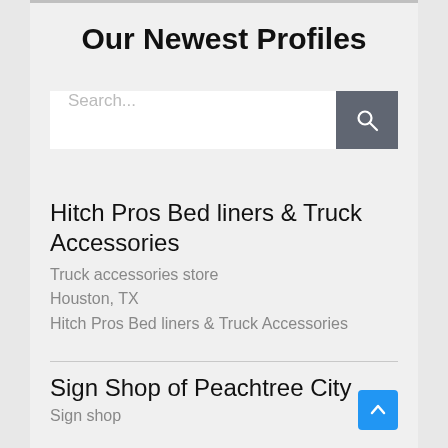Our Newest Profiles
[Figure (screenshot): Search input box with placeholder text 'Search...' and a dark grey search button with magnifying glass icon]
Hitch Pros Bed liners & Truck Accessories
Truck accessories store
Houston, TX
Hitch Pros Bed liners & Truck Accessories
Sign Shop of Peachtree City
Sign shop